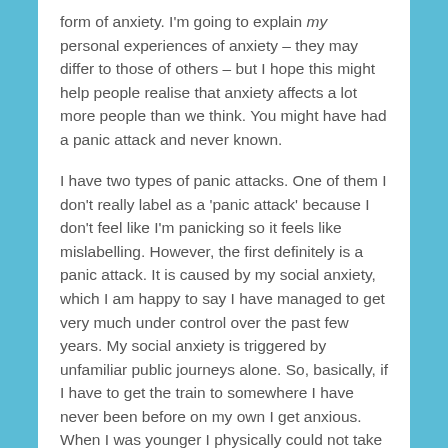form of anxiety. I'm going to explain my personal experiences of anxiety – they may differ to those of others – but I hope this might help people realise that anxiety affects a lot more people than we think. You might have had a panic attack and never known.
I have two types of panic attacks. One of them I don't really label as a 'panic attack' because I don't feel like I'm panicking so it feels like mislabelling. However, the first definitely is a panic attack. It is caused by my social anxiety, which I am happy to say I have managed to get very much under control over the past few years. My social anxiety is triggered by unfamiliar public journeys alone. So, basically, if I have to get the train to somewhere I have never been before on my own I get anxious. When I was younger I physically could not take public transport by myself